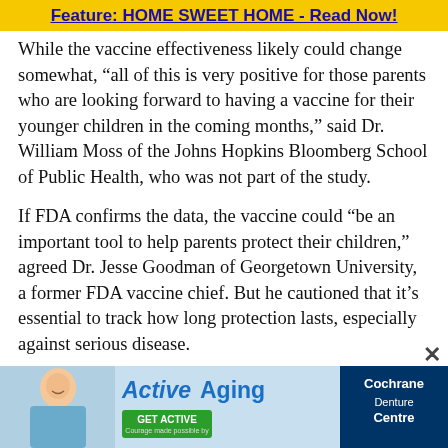Feature: HOME SWEET HOME - Read Now!
While the vaccine effectiveness likely could change somewhat, “all of this is very positive for those parents who are looking forward to having a vaccine for their younger children in the coming months,” said Dr. William Moss of the Johns Hopkins Bloomberg School of Public Health, who was not part of the study.
If FDA confirms the data, the vaccine could “be an important tool to help parents protect their children,” agreed Dr. Jesse Goodman of Georgetown University, a former FDA vaccine chief. But he cautioned that it’s essential to track how long protection lasts, especially against serious disease.
What’s next? FDA vaccine chief Dr. Peter Marks has
[Figure (illustration): Advertisement banner for ActiveAging and Cochrane Denture Centre featuring a person, 'GET ACTIVE' button, and Cochrane Denture Centre branding]